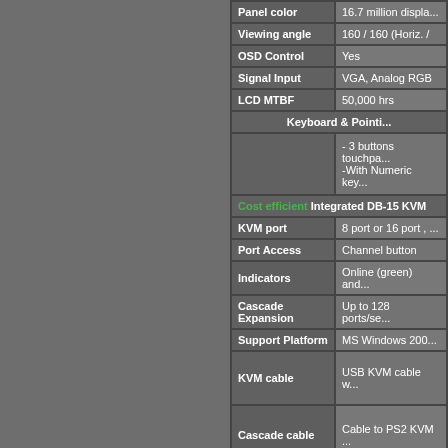| Feature | Value |
| --- | --- |
| Panel color | 16.7 million displ... |
| Viewing angle | 160 / 160 (Horiz. /... |
| OSD Control | Yes |
| Signal Input | VGA, Analog RGB |
| LCD MTBF | 50,000 hrs |
| [section] | Keyboard & Pointi... |
|  | - 3 buttons touchpa...
-With Numeric key... |
| [cost row] | Cost efficient Integrated DB-15 KVM ... |
| KVM port | 8 port or 16 port , ... |
| Port Access | Channel button |
| Indicators | Online (green) and... |
| Cascade Expansion | Up to 128 ports/se... |
| Support Platform | MS Windows 200... |
| KVM cable | USB KVM cable w... |
| Cascade cable | Cable to PS2 KVM ... |
| [section] | Power Supply |
|  | Internal Power Su...
Input , 12V 5A Ou... |